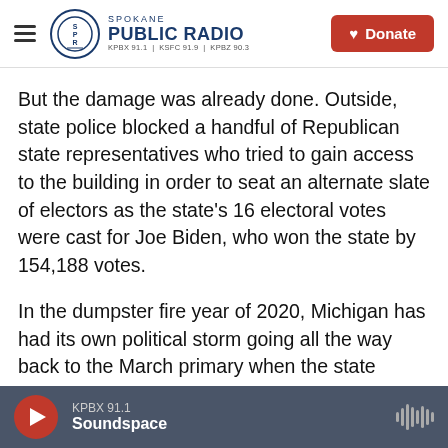Spokane Public Radio — KPBX 91.1 | KSFC 91.9 | KPBZ 90.3 | Donate
But the damage was already done. Outside, state police blocked a handful of Republican state representatives who tried to gain access to the building in order to seat an alternate slate of electors as the state's 16 electoral votes were cast for Joe Biden, who won the state by 154,188 votes.
In the dumpster fire year of 2020, Michigan has had its own political storm going all the way back to the March primary when the state detected its first cases of COVID-19. The weekend before, Vermont Sen.Bernie Sanders drew thousands to rallies in
KPBX 91.1 Soundspace